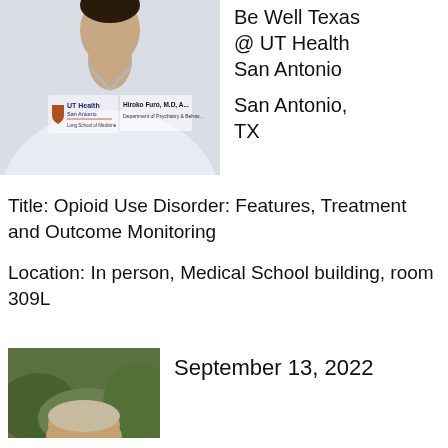[Figure (photo): Person wearing a white lab coat with UT Health San Antonio Long School of Medicine logo on the left chest, and a name badge reading 'Hiroko Furo, M.D.' with 'Department of Psychiatry & Behavioral' visible on the right chest.]
Be Well Texas @ UT Health San Antonio
San Antonio, TX
Title: Opioid Use Disorder: Features, Treatment and Outcome Monitoring
Location: In person, Medical School building, room 309L
[Figure (photo): Partial photo of a person outdoors with greenery in the background, showing the top of their head.]
September 13, 2022